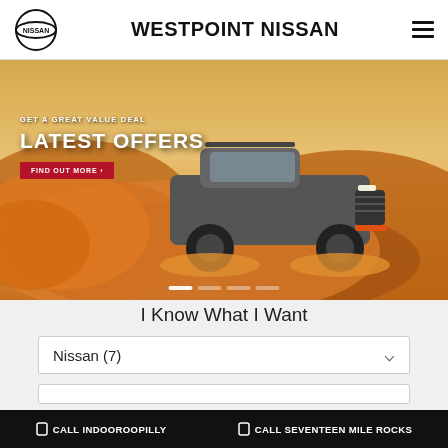WESTPOINT NISSAN
[Figure (photo): Hero banner showing a silver Nissan pickup truck driving through desert sand dunes with a dust cloud, with overlaid text 'GET A GREAT VALUE DEAL / LATEST OFFERS / FIND OUT MORE']
I Know What I Want
Nissan (7)
CALL INDOOROOPILLY   CALL SEVENTEEN MILE ROCKS